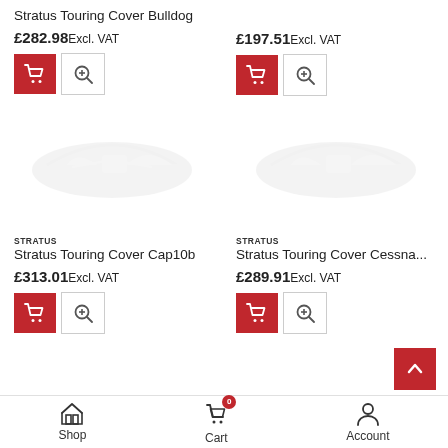Stratus Touring Cover Bulldog
£282.98 Excl. VAT
£197.51 Excl. VAT
[Figure (illustration): Faint watermark-style aircraft image for Stratus Touring Cover Cap10b]
[Figure (illustration): Faint watermark-style aircraft image for Stratus Touring Cover Cessna]
STRATUS
Stratus Touring Cover Cap10b
£313.01 Excl. VAT
STRATUS
Stratus Touring Cover Cessna...
£289.91 Excl. VAT
Shop   Cart   Account